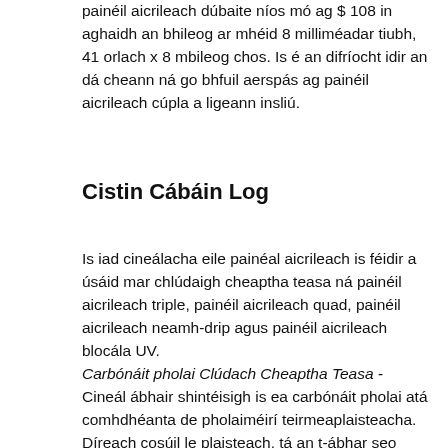painéil aicrileach dúbaite níos mó ag $ 108 in aghaidh an bhileog ar mhéid 8 milliméadar tiubh, 41 orlach x 8 mbileog chos. Is é an difríocht idir an dá cheann ná go bhfuil aerspás ag painéil aicrileach cúpla a ligeann insliú.
Cistin Cábáin Log
Is iad cineálacha eile painéal aicrileach is féidir a úsáid mar chlúdaigh cheaptha teasa ná painéil aicrileach triple, painéil aicrileach quad, painéil aicrileach neamh-drip agus painéil aicrileach blocála UV.
Carbónáit pholai Clúdach Cheaptha Teasa - Cineál ábhair shintéisigh is ea carbónáit pholai atá comhdhéanta de pholaiméirí teirmeaplaisteacha. Díreach cosúil le plaisteach, tá an t-ábhar seo lightweight ach meastar go bhfuil sé láidir agus marthanach.
De ghnáth déantar cóireáil UV ar bhileoga polacarbónaite le go mbeidh siad níos athléimní le húsáid lasmuigh. Cinntíonn sé seo nach ndíscaoileann an t-ábhar isteach i lí buí agus nach dtiocfaidh meath air